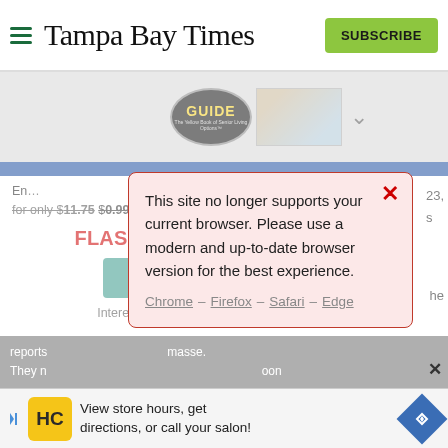Tampa Bay Times — SUBSCRIBE
[Figure (screenshot): Tampa Bay Times website screenshot showing navigation bar with hamburger menu, logo in serif font, and green SUBSCRIBE button]
This site no longer supports your current browser. Please use a modern and up-to-date browser version for the best experience.
Chrome – Firefox – Safari – Edge
for only $11.75 $0.99 for the first month.
FLASH SALE: $3 for 3 months!
Subscribe   Log In
Interested in print delivery? Subscribe here →
reports
They n
masse.
oon